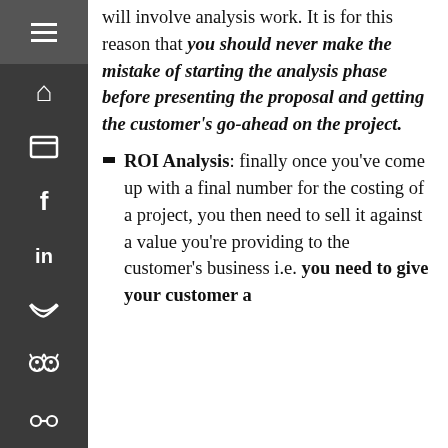will involve analysis work. It is for this reason that you should never make the mistake of starting the analysis phase before presenting the proposal and getting the customer's go-ahead on the project.
ROI Analysis: finally once you've come up with a final number for the costing of a project, you then need to sell it against a value you're providing to the customer's business i.e. you need to give your customer a